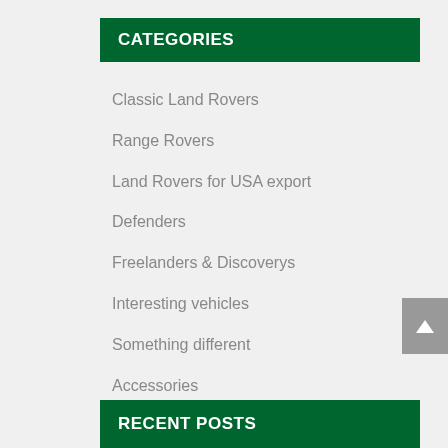CATEGORIES
Classic Land Rovers
Range Rovers
Land Rovers for USA export
Defenders
Freelanders & Discoverys
Interesting vehicles
Something different
Accessories
Recently Sold Vehicles
RECENT POSTS